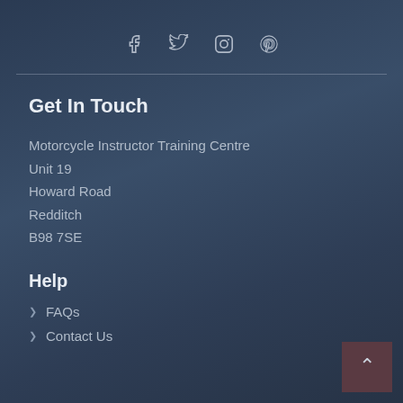[Figure (other): Social media icons: Facebook, Twitter, Instagram, Pinterest]
Get In Touch
Motorcycle Instructor Training Centre
Unit 19
Howard Road
Redditch
B98 7SE
Help
FAQs
Contact Us